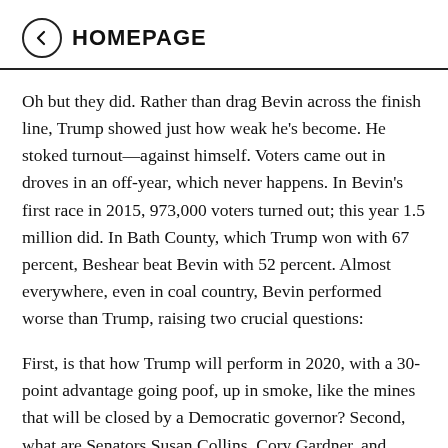HOMEPAGE
Oh but they did. Rather than drag Bevin across the finish line, Trump showed just how weak he’s become. He stoked turnout—against himself. Voters came out in droves in an off-year, which never happens. In Bevin’s first race in 2015, 973,000 voters turned out; this year 1.5 million did. In Bath County, which Trump won with 67 percent, Beshear beat Bevin with 52 percent. Almost everywhere, even in coal country, Bevin performed worse than Trump, raising two crucial questions:
First, is that how Trump will perform in 2020, with a 30-point advantage going poof, up in smoke, like the mines that will be closed by a Democratic governor? Second, what are Senators Susan Collins, Cory Gardner, and Thom